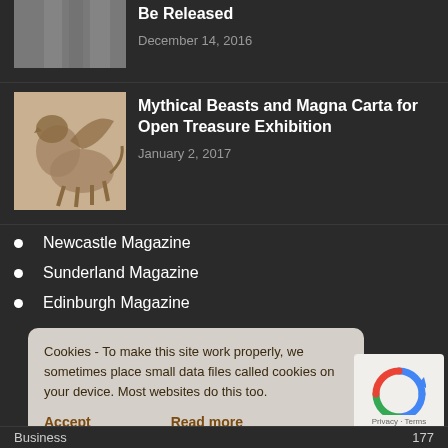[Figure (photo): Black and white photo (partially cropped at top)]
Be Released
December 14, 2016
[Figure (illustration): Sepia-toned illustration of a mythical griffin beast]
Mythical Beasts and Magna Carta for Open Treasure Exhibition
January 2, 2017
Newcastle Magazine
Sunderland Magazine
Edinburgh Magazine
Cookies - To make this site work properly, we sometimes place small data files called cookies on your device. Most websites do this too.
Accept
Read more
[Figure (logo): reCAPTCHA logo with Privacy and Terms links]
Business ... 177